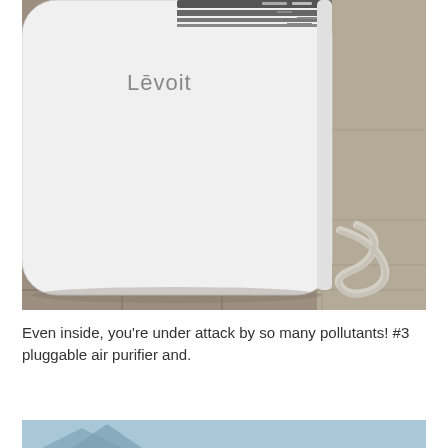[Figure (photo): Close-up photograph of a white Levoit air purifier sitting on a tiled floor. The device has rounded corners and the Levoit logo on the front. A white power cord is visible on the right side. The top of the device shows a control panel with indicators. The floor is gray tile.]
Even inside, you're under attack by so many pollutants! #3 pluggable air purifier and.
[Figure (photo): Partial view of a second image at the bottom of the page, showing a light blue background with what appears to be a mountain or roof-like graphic.]